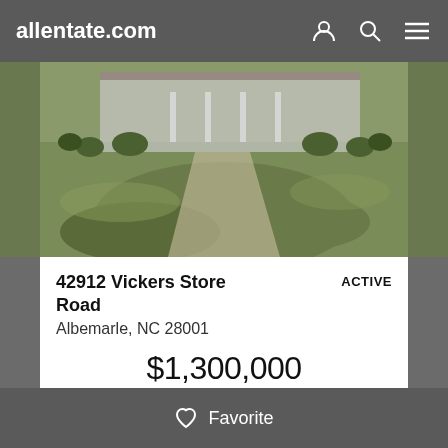allentate.com
[Figure (photo): Aerial/ground-level photo of a large residential property with green lawn in foreground and house visible in background]
42912 Vickers Store Road
ACTIVE
Albemarle, NC 28001
$1,300,000
9 beds   4 full baths   6 half baths
Favorite